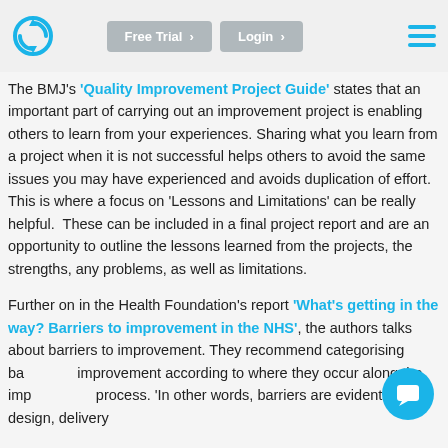Logo | Free Trial > | Login > | Menu
The BMJ's 'Quality Improvement Project Guide' states that an important part of carrying out an improvement project is enabling others to learn from your experiences. Sharing what you learn from a project when it is not successful helps others to avoid the same issues you may have experienced and avoids duplication of effort. This is where a focus on 'Lessons and Limitations' can be really helpful. These can be included in a final project report and are an opportunity to outline the lessons learned from the projects, the strengths, any problems, as well as limitations.
Further on in the Health Foundation's report 'What's getting in the way? Barriers to improvement in the NHS', the authors talks about barriers to improvement. They recommend categorising barriers to improvement according to where they occur along the improvement process. 'In other words, barriers are evident at the design, delivery